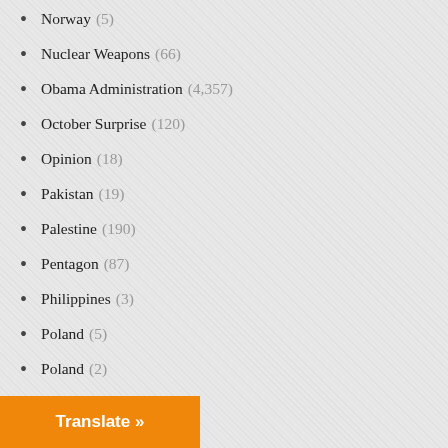Norway (5)
Nuclear Weapons (66)
Obama Administration (4,357)
October Surprise (120)
Opinion (18)
Pakistan (19)
Palestine (190)
Pentagon (87)
Philippines (3)
Poland (5)
Poland (2)
Police Brutality (57)
Politics (3,069)
Portugal (2)
Press Freedom (8)
Propaganda (311)
Protest (20)
Protests (91)
Translate »